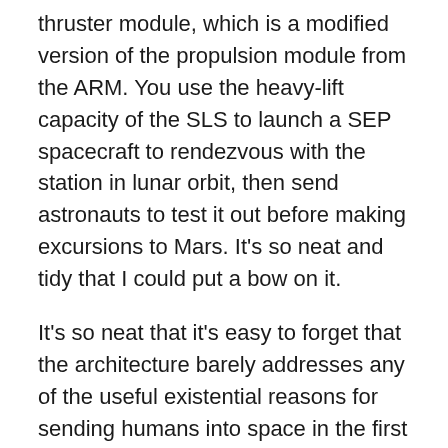thruster module, which is a modified version of the propulsion module from the ARM. You use the heavy-lift capacity of the SLS to launch a SEP spacecraft to rendezvous with the station in lunar orbit, then send astronauts to test it out before making excursions to Mars. It's so neat and tidy that I could put a bow on it.
It's so neat that it's easy to forget that the architecture barely addresses any of the useful existential reasons for sending humans into space in the first place. With annual resupply missions to the DSG and no permanent human habitation, there is little motivation to develop a closed-loop life support system. This only happens when we get to the DST. The strange thing, then, is that the shakedown cruise of the DST happens while attached to the DSG. A mission which is supposed to demonstrate that the DST could operate for three years without resupply or repair,